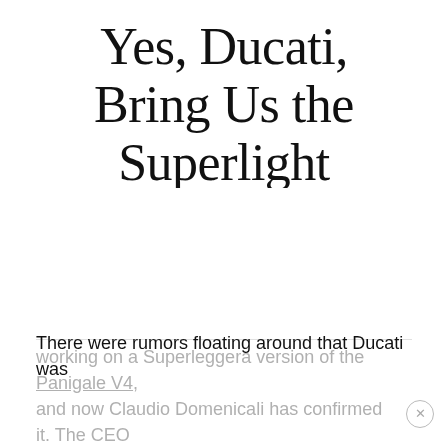Yes, Ducati, Bring Us the Superlight
[Figure (photo): Image placeholder area (white/blank area where a motorcycle photo would appear)]
There were rumors floating around that Ducati was working on a Superleggera version of the Panigale V4, and now Claudio Domenicali has confirmed it. The CEO